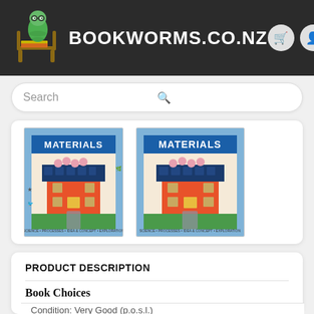BOOKWORMS.CO.NZ
Search
[Figure (photo): Two copies of a book cover titled MATERIALS, showing an illustrated red house with blue roof, pink flowers on top, a green lawn, and decorative border with birds and stars. Beige/cream background.]
PRODUCT DESCRIPTION
Book Choices
Condition: Very Good (p.o.s.l.)